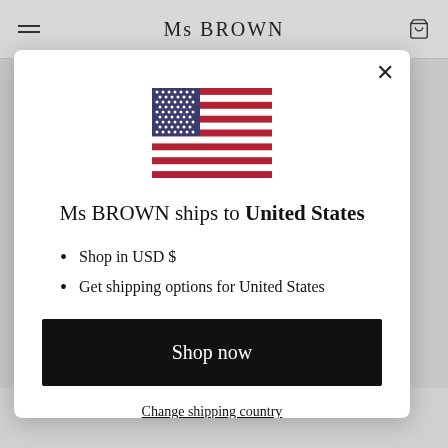Ms BROWN
[Figure (illustration): US flag emoji/illustration centered in modal]
Ms BROWN ships to United States
Shop in USD $
Get shipping options for United States
Shop now
Change shipping country
certified organic ingredients.